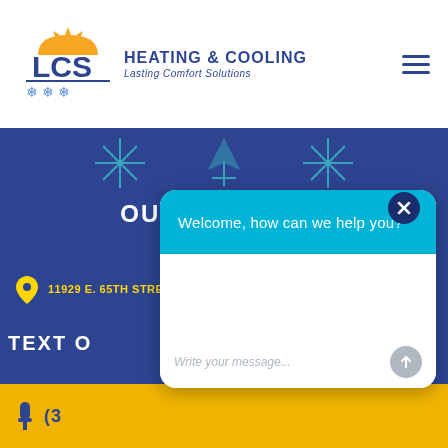[Figure (logo): LCS Heating & Cooling logo with sun and snowflake icons above 'LCS' letters, tagline 'Lasting Comfort Solutions']
OUR LOCATION
11929 E. 65TH STREET | INDIANAPOLIS, IN 46236
TEXT O...
(3...
Welcome, how can we help you?
Write your message...